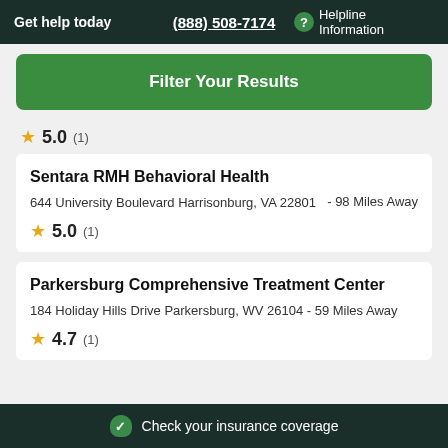Get help today  (888) 508-7174  ? Helpline Information
Filter Your Results
★ 5.0 (1)
Sentara RMH Behavioral Health
644 University Boulevard Harrisonburg, VA 22801 - 98 Miles Away
★ 5.0 (1)
Parkersburg Comprehensive Treatment Center
184 Holiday Hills Drive Parkersburg, WV 26104 - 59 Miles Away
★ 4.7 (1)
Check your insurance coverage